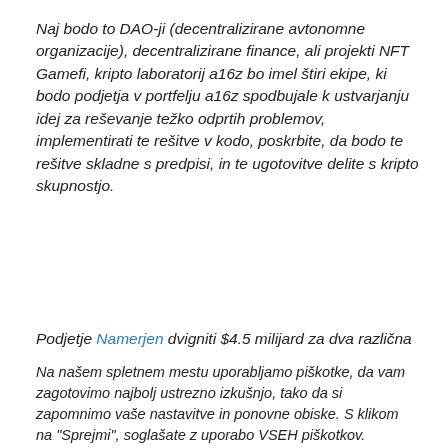Naj bodo to DAO-ji (decentralizirane avtonomne organizacije), decentralizirane finance, ali projekti NFT Gamefi, kripto laboratorij a16z bo imel štiri ekipe, ki bodo podjetja v portfelju a16z spodbujale k ustvarjanju idej za reševanje težko odprtih problemov, implementirati te rešitve v kodo, poskrbite, da bodo te rešitve skladne s predpisi, in te ugotovitve delite s kripto skupnostjo.
Podjetje Namerjen dvigniti $4.5 milijard za dva različna sklada, povezana s kripto vlaganjem – $1 milijard ...
Na našem spletnem mestu uporabljamo piškotke, da vam zagotovimo najbolj ustrezno izkušnjo, tako da si zapomnimo vaše nastavitve in ponovne obiske. S klikom na "Sprejmi", soglašate z uporabo VSEH piškotkov.
Ne prodajajte mojih osebnih podatkov.